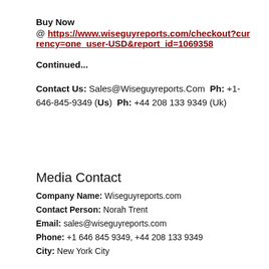Buy Now @ https://www.wiseguyreports.com/checkout?currency=one_user-USD&report_id=1069358
Continued...
Contact Us: Sales@Wiseguyreports.Com Ph: +1-646-845-9349 (Us) Ph: +44 208 133 9349 (Uk)
Media Contact
Company Name: Wiseguyreports.com
Contact Person: Norah Trent
Email: sales@wiseguyreports.com
Phone: +1 646 845 9349, +44 208 133 9349
City: New York City